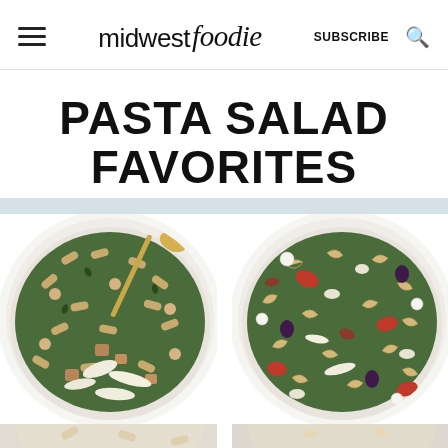midwest foodie  SUBSCRIBE
PASTA SALAD FAVORITES
[Figure (photo): Two food photos side by side showing pasta salads in white bowls: left bowl has rotini pasta with kale, chickpeas, croutons and parmesan; right bowl has farfalle pasta with kale, roasted red peppers, olives, white beans, and mozzarella.]